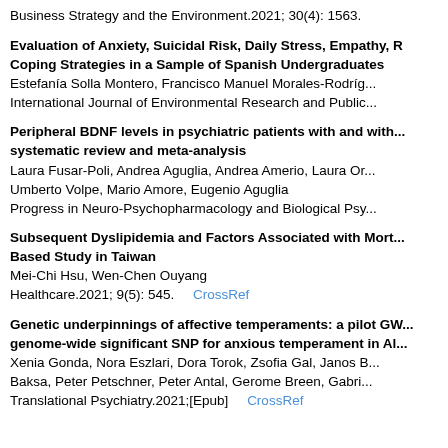Business Strategy and the Environment.2021; 30(4): 1563.
Evaluation of Anxiety, Suicidal Risk, Daily Stress, Empathy, R... Coping Strategies in a Sample of Spanish Undergraduates
Estefanía Solla Montero, Francisco Manuel Morales-Rodríg...
International Journal of Environmental Research and Public...
Peripheral BDNF levels in psychiatric patients with and with... systematic review and meta-analysis
Laura Fusar-Poli, Andrea Aguglia, Andrea Amerio, Laura Or... Umberto Volpe, Mario Amore, Eugenio Aguglia
Progress in Neuro-Psychopharmacology and Biological Psy...
Subsequent Dyslipidemia and Factors Associated with Mort... Based Study in Taiwan
Mei-Chi Hsu, Wen-Chen Ouyang
Healthcare.2021; 9(5): 545. CrossRef
Genetic underpinnings of affective temperaments: a pilot GW... genome-wide significant SNP for anxious temperament in Al...
Xenia Gonda, Nora Eszlari, Dora Torok, Zsofia Gal, Janos B... Baksa, Peter Petschner, Peter Antal, Gerome Breen, Gabri...
Translational Psychiatry.2021;[Epub] CrossRef